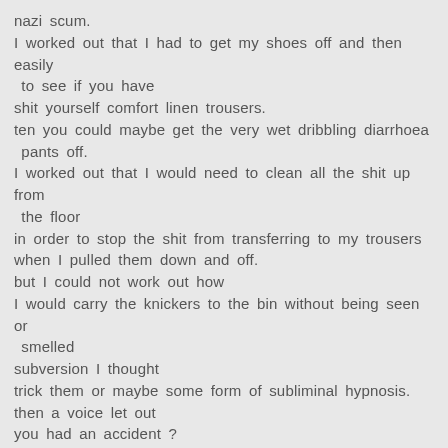nazi scum.
I worked out that I had to get my shoes off and then easily to see if you have
shit yourself comfort linen trousers.
ten you could maybe get the very wet dribbling diarrhoea pants off.
I worked out that I would need to clean all the shit up from the floor
in order to stop the shit from transferring to my trousers when I pulled them down and off.
but I could not work out how
I would carry the knickers to the bin without being seen or smelled
subversion I thought
trick them or maybe some form of subliminal hypnosis.
then a voice let out
you had an accident ?
yes , I replied but I don't really want to discuss it in a public environment.